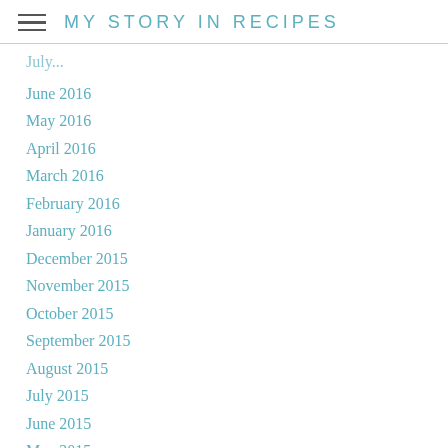MY STORY IN RECIPES
June 2016
May 2016
April 2016
March 2016
February 2016
January 2016
December 2015
November 2015
October 2015
September 2015
August 2015
July 2015
June 2015
May 2015
April 2015
March 2015
February 2015